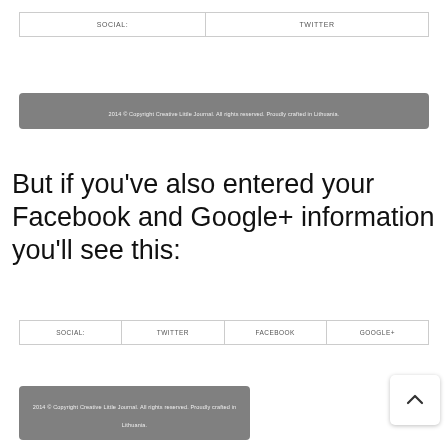[Figure (screenshot): Navigation bar with SOCIAL: and TWITTER cells]
[Figure (screenshot): Footer bar: 2014 © Copyright Creative Little Journal. All rights reserved. Proudly crafted in Lithuania.]
But if you've also entered your Facebook and Google+ information you'll see this:
[Figure (screenshot): Navigation bar with SOCIAL:, TWITTER, FACEBOOK, and GOOGLE+ cells]
[Figure (screenshot): Footer bar: 2014 © Copyright Creative Little Journal. All rights reserved. Proudly crafted in Lithuania.]